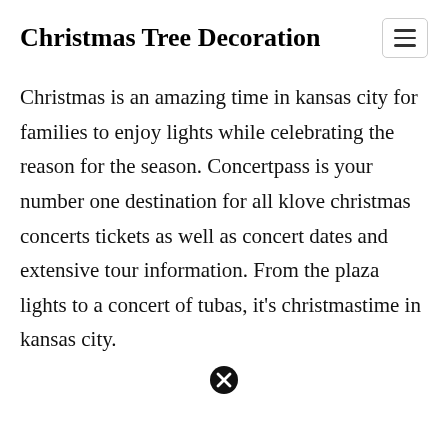Christmas Tree Decoration
Christmas is an amazing time in kansas city for families to enjoy lights while celebrating the reason for the season. Concertpass is your number one destination for all klove christmas concerts tickets as well as concert dates and extensive tour information. From the plaza lights to a concert of tubas, it's christmastime in kansas city.